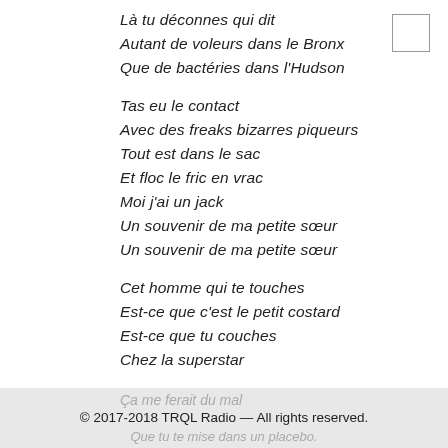Là tu déconnes qui dit
Autant de voleurs dans le Bronx
Que de bactéries dans l'Hudson

Tas eu le contact
Avec des freaks bizarres piqueurs
Tout est dans le sac
Et floc le fric en vrac
Moi j'ai un jack
Un souvenir de ma petite sœur
Un souvenir de ma petite sœur

Cet homme qui te touches
Est-ce que c'est le petit costard
Est-ce que tu couches
Chez la superstar
Ça me ferait du mal
© 2017-2018 TRQL Radio — All rights reserved.
Que tu te mise dans un placebo.